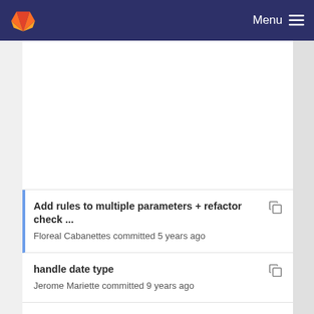Menu
Add rules to multiple parameters + refactor check ...
Floreal Cabanettes committed 5 years ago
handle date type
Jerome Mariette committed 9 years ago
use a system of cache when retrieving workflows ...
Jerome Mariette committed 7 years ago